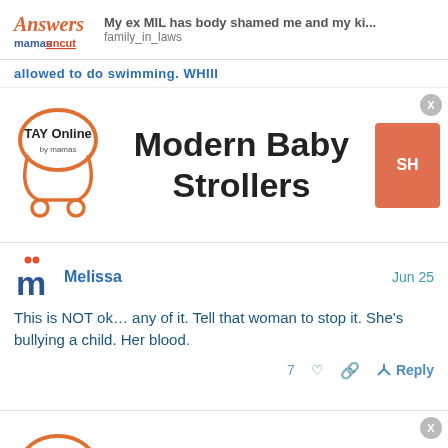My ex MIL has body shamed me and my ki... | family_in_laws
allowed to go swimming. WHIII
[Figure (advertisement): TAY Online by mamas ad banner for Modern Baby Strollers with orange shop button and close X button]
Melissa   Jun 25

This is NOT ok... any of it. Tell that woman to stop it. She's bullying a child. Her blood.

7 [heart] [link] [reply] Reply
[Figure (advertisement): TAY Online by mamas ad banner for Modern Baby Strollers with orange shop button and close X button]